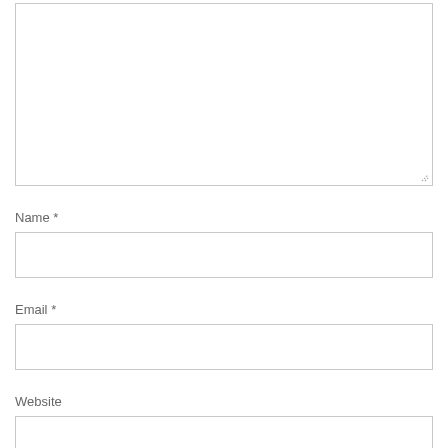[Figure (screenshot): A large empty textarea input box with a resize handle in the bottom-right corner, bordered in light gray.]
Name *
[Figure (screenshot): An empty single-line text input box for Name, bordered in light gray.]
Email *
[Figure (screenshot): An empty single-line text input box for Email, bordered in light gray.]
Website
[Figure (screenshot): An empty single-line text input box for Website, bordered in light gray, partially visible at page bottom.]